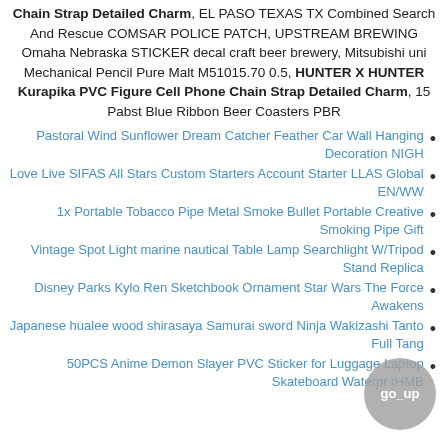Chain Strap Detailed Charm, EL PASO TEXAS TX Combined Search And Rescue COMSAR POLICE PATCH, UPSTREAM BREWING Omaha Nebraska STICKER decal craft beer brewery, Mitsubishi uni Mechanical Pencil Pure Malt M51015.70 0.5, HUNTER X HUNTER Kurapika PVC Figure Cell Phone Chain Strap Detailed Charm, 15 Pabst Blue Ribbon Beer Coasters PBR
Pastoral Wind Sunflower Dream Catcher Feather Car Wall Hanging Decoration NIGH
Love Live SIFAS All Stars Custom Starters Account Starter LLAS Global EN/WW
1x Portable Tobacco Pipe Metal Smoke Bullet Portable Creative Smoking Pipe Gift
Vintage Spot Light marine nautical Table Lamp Searchlight W/Tripod Stand Replica
Disney Parks Kylo Ren Sketchbook Ornament Star Wars The Force Awakens
Japanese hualee wood shirasaya Samurai sword Ninja Wakizashi Tanto Full Tang
50PCS Anime Demon Slayer PVC Sticker for Luggage Laptop Skateboard Waterpr tHMB